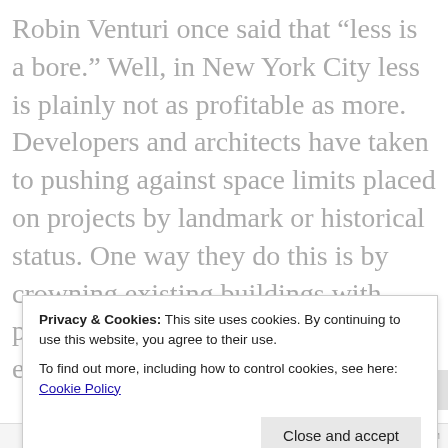Robin Venturi once said that “less is a bore.” Well, in New York City less is plainly not as profitable as more. Developers and architects have taken to pushing against space limits placed on projects by landmark or historical status. One way they do this is by crowning existing buildings with penthouse additions—a trend that has exploded as of late, according to a...
Privacy & Cookies: This site uses cookies. By continuing to use this website, you agree to their use.
To find out more, including how to control cookies, see here: Cookie Policy